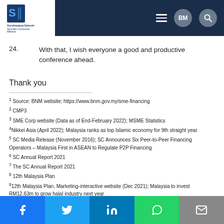Suruhanjaya Sekuriti Securities Commission Malaysia — BM Search
24. With that, I wish everyone a good and productive conference ahead.
Thank you
1 Source: BNM website; https://www.bnm.gov.my/sme-financing
2 CMP3
3 SME Corp website (Data as of End-February 2022); MSME Statistics
4 Nikkei Asia (April 2022); Malaysia ranks as top Islamic economy for 9th straight year
5 SC Media Release (November 2016); SC Announces Six Peer-to-Peer Financing Operators – Malaysia First in ASEAN to Regulate P2P Financing
6 SC Annual Report 2021
7 The SC Annual Report 2021
8 12th Malaysia Plan
9 12th Malaysia Plan, Marketing-interactive website (Dec 2021); Malaysia to invest RM12.63m to grow halal industry next year
Facebook Twitter LinkedIn WhatsApp Email